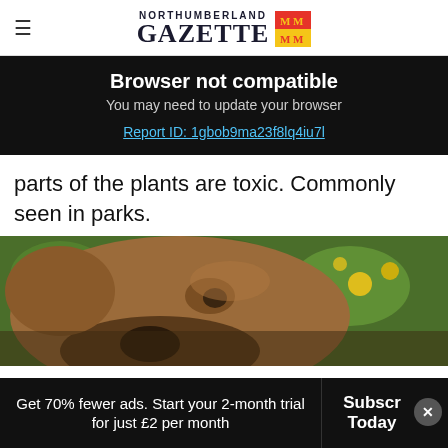NORTHUMBERLAND GAZETTE
Browser not compatible
You may need to update your browser
Report ID: 1gbob9ma23f8lq4iu7l
parts of the plants are toxic. Commonly seen in parks.
[Figure (photo): Close-up photo of a brown dog's face with blurred green foliage and yellow flowers in the background]
Get 70% fewer ads. Start your 2-month trial for just £2 per month
Subscribe Today